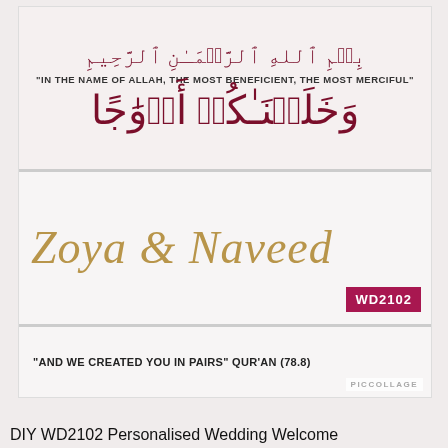[Figure (photo): A collage of three decorative panels: (1) Arabic calligraphy text 'Bismillah ir-Rahman ir-Rahim' in dark red/maroon with English translation 'In the name of Allah, the most Beneficient, the most Merciful' and a large Arabic Quranic verse below; (2) Calligraphic names 'Zoya & Naveed' in gold/tan script on white background with a dark pink WD2102 product code badge; (3) A white panel with bold text 'And we created you in pairs' Qur'an (78.8) and a PICCOLLAGE watermark.]
DIY WD2102 Personalised Wedding Welcome